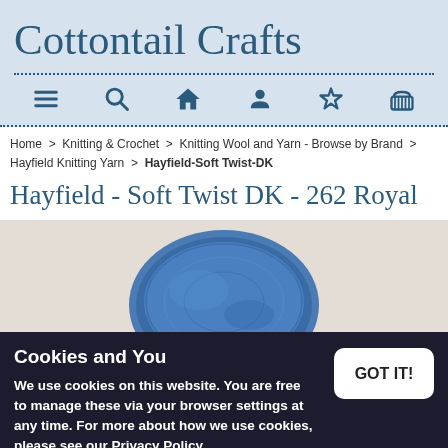Cottontail Crafts
[Figure (screenshot): Navigation icon bar with menu, search, home, account, wishlist, and cart icons on light blue background]
Home > Knitting & Crochet > Knitting Wool and Yarn - Browse by Brand > Hayfield Knitting Yarn > Hayfield-Soft Twist-DK
Hayfield - Soft Twist DK - 262 Royal
[Figure (photo): Photo of a blue ball of yarn on a beige/cream background, partially obscured by a dark overlay of a dark navy yarn ball]
Cookies and You
We use cookies on this website. You are free to manage these via your browser settings at any time. For more about how we use cookies, please see our Privacy Policy.